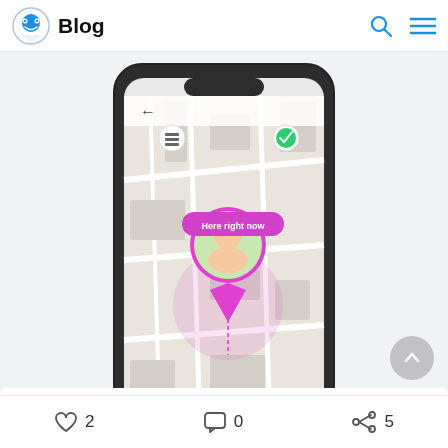Blog
[Figure (screenshot): Screenshot of FindMyKids mobile application showing a map with a child's location marker 'Here right now' and a photo of a child in a pink location pin, displayed inside a smartphone mockup. Yellow band background behind the phone.]
Mobile application FindMyKids
2  0  5